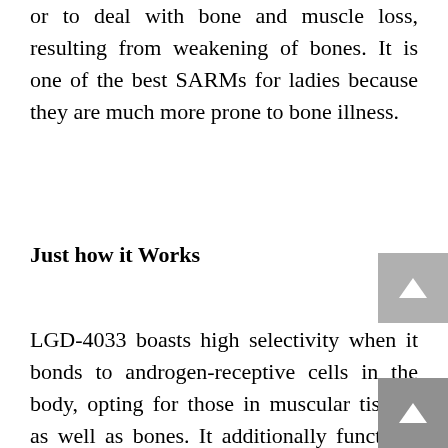or to deal with bone and muscle loss, resulting from weakening of bones. It is one of the best SARMs for ladies because they are much more prone to bone illness.
Just how it Works
LGD-4033 boasts high selectivity when it bonds to androgen-receptive cells in the body, opting for those in muscular tissues as well as bones. It additionally functions quickly: a 21-day study on healthy males discovered all individuals delighted in increased lean body mass [18]
Within this short duration, participants likewise revealed raised leg press stamina and